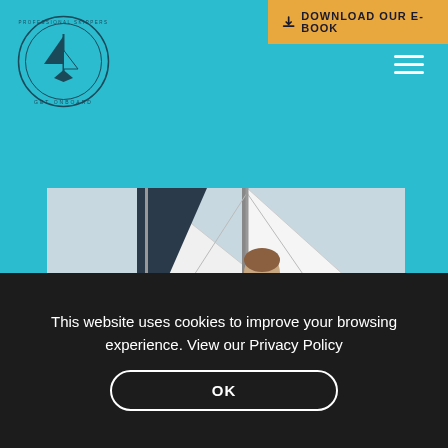[Figure (logo): Get Onboard circular logo with sailboat icon on teal background]
DOWNLOAD OUR E-BOOK
[Figure (photo): Man on a sailboat, looking down, wearing a white sleeveless shirt, with sails and rigging visible]
This website uses cookies to improve your browsing experience. View our Privacy Policy
OK